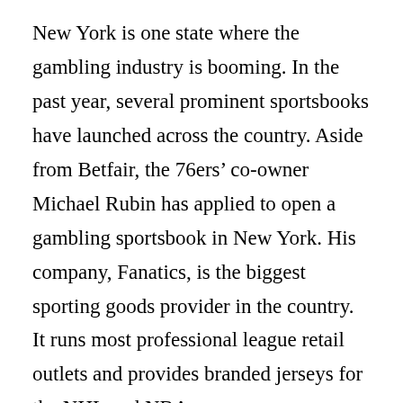New York is one state where the gambling industry is booming. In the past year, several prominent sportsbooks have launched across the country. Aside from Betfair, the 76ers' co-owner Michael Rubin has applied to open a gambling sportsbook in New York. His company, Fanatics, is the biggest sporting goods provider in the country. It runs most professional league retail outlets and provides branded jerseys for the NHL and NBA.
The sports betting industry continues to grow,